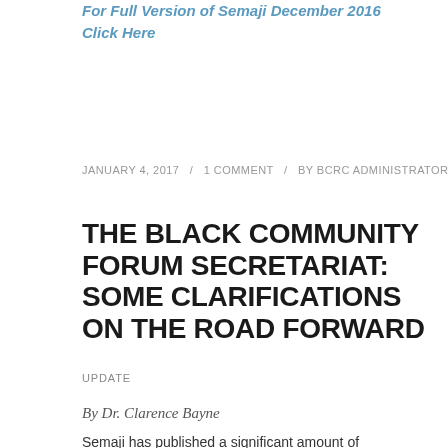For Full Version of Semaji December 2016 Click Here
JANUARY 4, 2017 / 1 COMMENT / BY BCRC ADMINISTRATOR
THE BLACK COMMUNITY FORUM SECRETARIAT: SOME CLARIFICATIONS ON THE ROAD FORWARD
UPDATE
By Dr. Clarence Bayne
Semaji has published a significant amount of